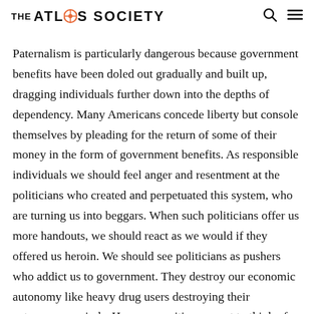THE ATLAS SOCIETY
Paternalism is particularly dangerous because government benefits have been doled out gradually and built up, dragging individuals further down into the depths of dependency. Many Americans concede liberty but console themselves by pleading for the return of some of their money in the form of government benefits. As responsible individuals we should feel anger and resentment at the politicians who created and perpetuated this system, who are turning us into beggars. When such politicians offer us more handouts, we should react as we would if they offered us heroin. We should see politicians as pushers who addict us to government. They destroy our economic autonomy like heavy drug users destroying their autonomous minds. How many citizens want to think of themselves as